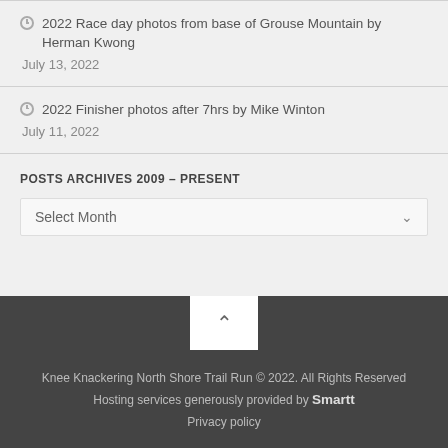2022 Race day photos from base of Grouse Mountain by Herman Kwong
July 13, 2022
2022 Finisher photos after 7hrs by Mike Winton
July 11, 2022
POSTS ARCHIVES 2009 – PRESENT
Select Month
Knee Knackering North Shore Trail Run © 2022. All Rights Reserved
Hosting services generously provided by Smartt
Privacy policy